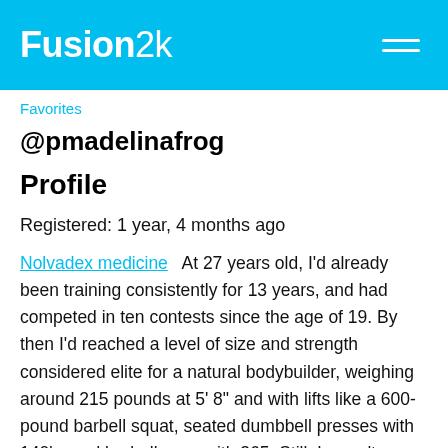Fusion2k
Favorites
@pmadelinafrog
Profile
Registered: 1 year, 4 months ago
Nolvadex medicine   At 27 years old, I'd already been training consistently for 13 years, and had competed in ten contests since the age of 19. By then I'd reached a level of size and strength considered elite for a natural bodybuilder, weighing around 215 pounds at 5' 8" and with lifts like a 600-pound barbell squat, seated dumbbell presses with 140's, and barbell rows with 365. Still, I wasn't satisfied with my physique at all. At 215 I was very smooth, and the last time I dieted down for a drug-free contest I was a mere 181 pounds. My heroes had been guys like Rich Gaspari, Dorian Yates, Flex Wheeler, and